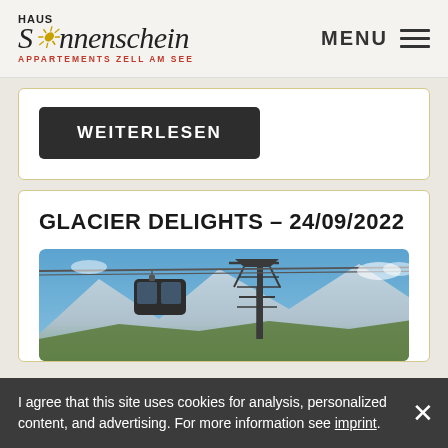HAUS Sonnenschein APPARTEMENTS ZELL AM SEE | MENU
WEITERLESEN
GLACIER DELIGHTS - 24/09/2022
[Figure (photo): Gondola cable car against blue sky with mountains and pylon]
I agree that this site uses cookies for analysis, personalized content, and advertising. For more information see imprint.